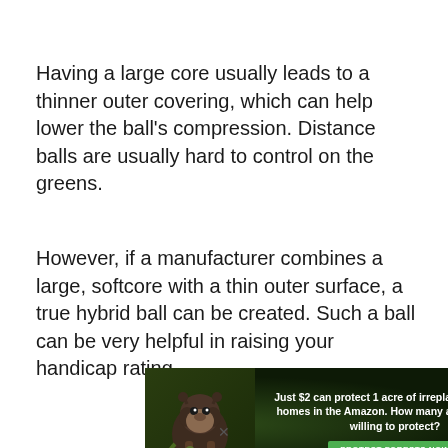Having a large core usually leads to a thinner outer covering, which can help lower the ball's compression. Distance balls are usually hard to control on the greens.
However, if a manufacturer combines a large, softcore with a thin outer surface, a true hybrid ball can be created. Such a ball can be very helpful in raising your handicap rating.
[Figure (infographic): Amazon forest conservation advertisement: dark green background with orangutan image on left, text 'Just $2 can protect 1 acre of irreplaceable forest homes in the Amazon. How many acres are you willing to protect?' and green 'PROTECT FORESTS NOW' button.]